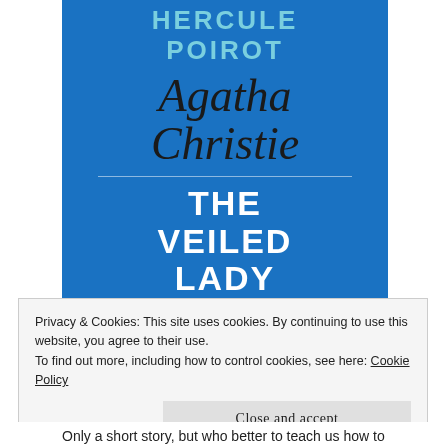[Figure (illustration): Book cover for 'The Veiled Lady' by Agatha Christie, featuring Hercule Poirot series. Blue background with 'HERCULE POIROT' in teal letters at top, 'Agatha Christie' in cursive/script black handwriting in the middle, a thin horizontal divider, and 'THE VEILED LADY' in large bold white uppercase text at the bottom.]
Privacy & Cookies: This site uses cookies. By continuing to use this website, you agree to their use.
To find out more, including how to control cookies, see here: Cookie Policy
Close and accept
Only a short story, but who better to teach us how to